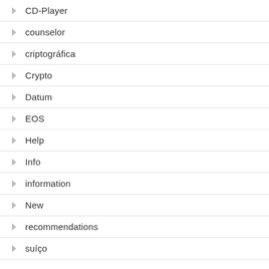CD-Player
counselor
criptográfica
Crypto
Datum
EOS
Help
Info
information
New
recommendations
suíço